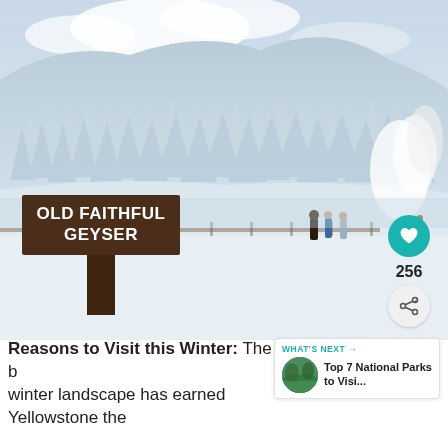[Figure (photo): Winter landscape at Old Faithful Geyser in Yellowstone National Park. Snow-covered pine trees on a hillside, steam rising on the right, visitors standing near a boardwalk on an icy flat area. A brown wooden sign reading 'OLD FAITHFUL GEYSER' is in the foreground. A teal heart/like button showing 256 likes and a share button are overlaid on the right side.]
Reasons to Visit this Winter: The b[eautiful] winter landscape has earned Yellowstone the
WHAT'S NEXT → Top 7 National Parks to Visi...